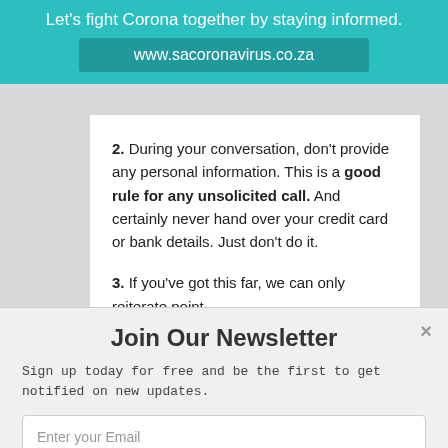Let's fight Corona together by staying informed.
www.sacoronavirus.co.za
2. During your conversation, don't provide any personal information. This is a good rule for any unsolicited call. And certainly never hand over your credit card or bank details. Just don't do it.
3. If you've got this far, we can only reiterate point
Join Our Newsletter
Sign up today for free and be the first to get notified on new updates.
Enter your Email
Subscribe Now